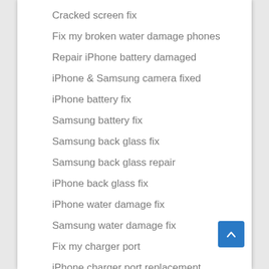Cracked screen fix
Fix my broken water damage phones
Repair iPhone battery damaged
iPhone & Samsung camera fixed
iPhone battery fix
Samsung battery fix
Samsung back glass fix
Samsung back glass repair
iPhone back glass fix
iPhone water damage fix
Samsung water damage fix
Fix my charger port
iPhone charger port replacement
Broken charger port
Phone charger broken
phones
Phone screen frozen
Phone does not work with touch